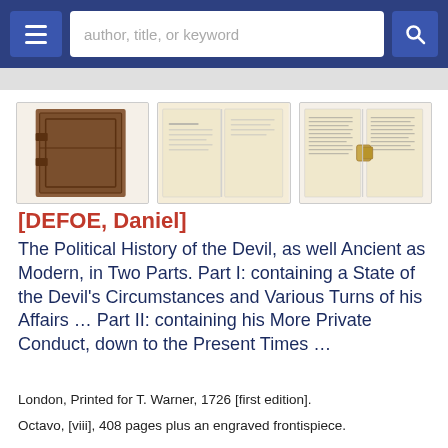author, title, or keyword
[Figure (photo): Three thumbnail images of an antique book: left shows the spine/cover of a worn brown leather book, center shows an open page spread with handwriting/print, right shows another open page spread with dense text and a clasp visible.]
[DEFOE, Daniel]
The Political History of the Devil, as well Ancient as Modern, in Two Parts. Part I: containing a State of the Devil's Circumstances and Various Turns of his Affairs … Part II: containing his More Private Conduct, down to the Present Times …
London, Printed for T. Warner, 1726 [first edition].
Octavo, [viii], 408 pages plus an engraved frontispiece.